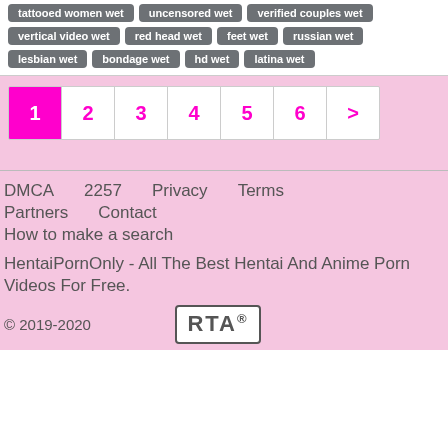tattooed women wet
uncensored wet
verified couples wet
vertical video wet
red head wet
feet wet
russian wet
lesbian wet
bondage wet
hd wet
latina wet
1 2 3 4 5 6 >
DMCA  2257  Privacy  Terms  Partners  Contact  How to make a search
HentaiPornOnly - All The Best Hentai And Anime Porn Videos For Free.
© 2019-2020   RTA®